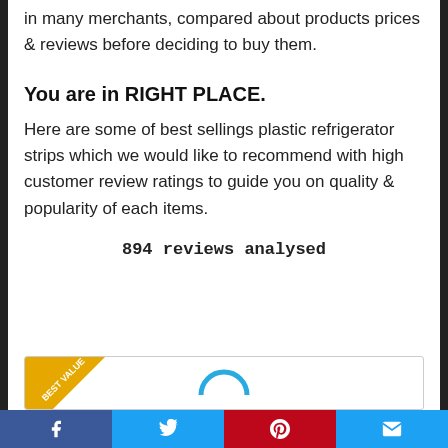in many merchants, compared about products prices & reviews before deciding to buy them.
You are in RIGHT PLACE.
Here are some of best sellings plastic refrigerator strips which we would like to recommend with high customer review ratings to guide you on quality & popularity of each items.
894 reviews analysed
[Figure (other): Product card with a gold 'BEST VALUE' badge in the top-left corner and a blue circular arc/logo element in the center]
Facebook | Twitter | Pinterest | Email social share bar